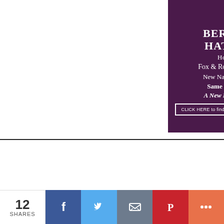[Figure (other): Berkshire Hathaway HomeServices Fox & Roach REALTORS advertisement on purple background with text: BERKSHIRE HATHAWAY HomeServices, Fox & Roach, REALTORS, New Name ~ New Look, Same Great Company, A New Era in Real Estate. CLICK HERE to find your next home at foxroach.com]
[Figure (logo): Chestnut Hill Local newspaper logo with green lamp post icon and bold serif text reading Chestnut Hill Local, with orange RSS icon]
8434 Germantown Ave.
[Figure (infographic): Social sharing bar showing 12 SHARES with Facebook, Twitter, Email, Pinterest and More buttons]